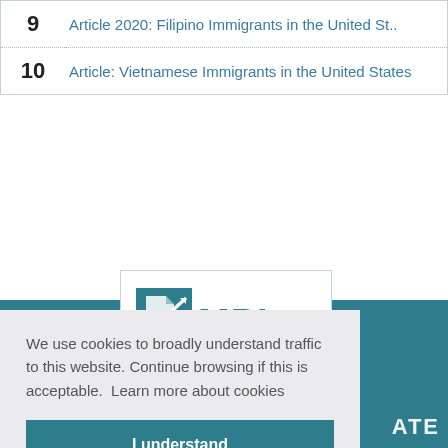9 Article 2020: Filipino Immigrants in the United St..
10 Article: Vietnamese Immigrants in the United States
[Figure (logo): MPI Migration Policy Institute logo — teal square graphic with stylized document icon, bold teal MPI text, and 'MIGRATION POLICY INSTITUTE' text below]
We use cookies to broadly understand traffic to this website. Continue browsing if this is acceptable.  Learn more about cookies
I understand
ATE